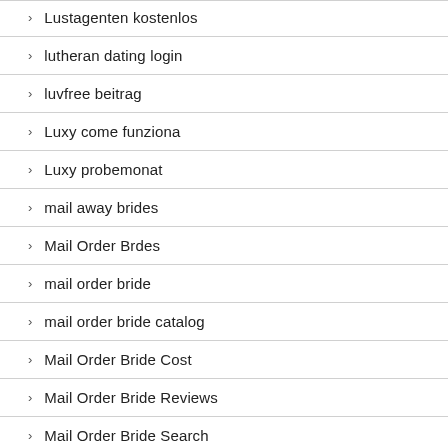Lustagenten kostenlos
lutheran dating login
luvfree beitrag
Luxy come funziona
Luxy probemonat
mail away brides
Mail Order Brdes
mail order bride
mail order bride catalog
Mail Order Bride Cost
Mail Order Bride Reviews
Mail Order Bride Search